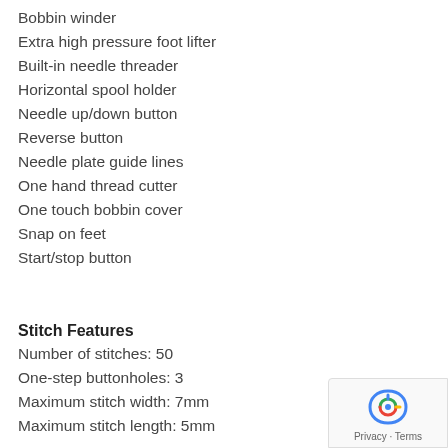Bobbin winder
Extra high pressure foot lifter
Built-in needle threader
Horizontal spool holder
Needle up/down button
Reverse button
Needle plate guide lines
One hand thread cutter
One touch bobbin cover
Snap on feet
Start/stop button
Stitch Features
Number of stitches: 50
One-step buttonholes: 3
Maximum stitch width: 7mm
Maximum stitch length: 5mm